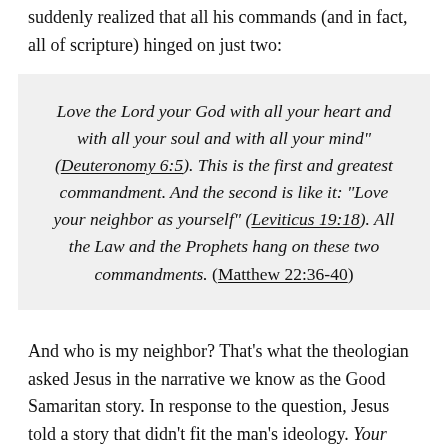suddenly realized that all his commands (and in fact, all of scripture) hinged on just two:
Love the Lord your God with all your heart and with all your soul and with all your mind" (Deuteronomy 6:5). This is the first and greatest commandment. And the second is like it: "Love your neighbor as yourself" (Leviticus 19:18). All the Law and the Prophets hang on these two commandments. (Matthew 22:36-40)
And who is my neighbor? That's what the theologian asked Jesus in the narrative we know as the Good Samaritan story. In response to the question, Jesus told a story that didn't fit the man's ideology. Your neighbor, Jesus indicated, is likely the one you dislike (hate?) the most. It appears the guy